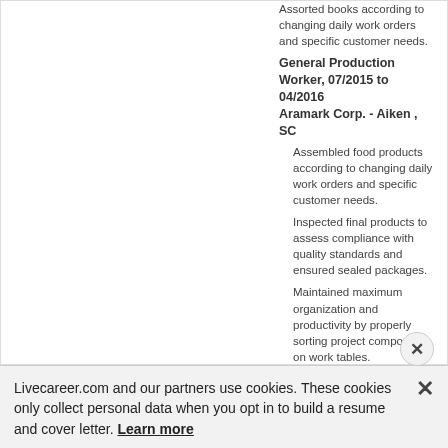Assorted books according to changing daily work orders and specific customer needs.
General Production Worker, 07/2015 to 04/2016
Aramark Corp. - Aiken , SC
Assembled food products according to changing daily work orders and specific customer needs.
Inspected final products to assess compliance with quality standards and ensured sealed packages.
Maintained maximum organization and productivity by properly sorting project components on work tables.
Interacted effectively with members of work crew using cell phones, two-way radios and other communication devices
Livecareer.com and our partners use cookies. These cookies only collect personal data when you opt in to build a resume and cover letter. Learn more